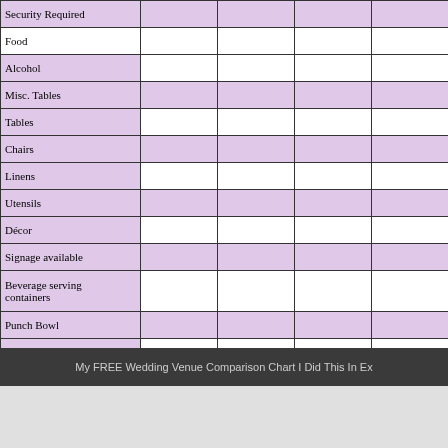|  |  |  |  |  |
| --- | --- | --- | --- | --- |
| Security Required |  |  |  |  |
| Food |  |  |  |  |
| Alcohol |  |  |  |  |
| Misc. Tables |  |  |  |  |
| Tables |  |  |  |  |
| Chairs |  |  |  |  |
| Linens |  |  |  |  |
| Utensils |  |  |  |  |
| Décor |  |  |  |  |
| Signage available |  |  |  |  |
| Beverage serving containers |  |  |  |  |
| Punch Bowl |  |  |  |  |
| Cake Cutting |  |  |  |  |
| Cake Making |  |  |  |  |
| Cake Stand |  |  |  |  |
| Slideshow Capable |  |  |  |  |
| Sound System |  |  |  |  |
| DJ |  |  |  |  |
| Rooms for Guests |  |  |  |  |
| Food Tax |  |  |  |  |
| Service Fee |  |  |  |  |
| Extra Fees |  |  |  |  |
| Fees Refundable |  |  |  |  |
My FREE Wedding Venue Comparison Chart I Did This In Ex